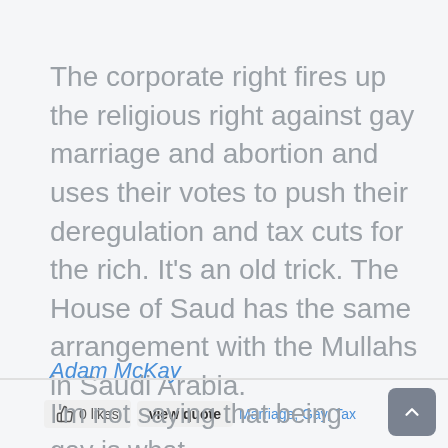The corporate right fires up the religious right against gay marriage and abortion and uses their votes to push their deregulation and tax cuts for the rich. It's an old trick. The House of Saud has the same arrangement with the Mullahs in Saudi Arabia.
Adam McKay
0 likes   view quote   Marriage, Gay, Tax
I'm not saying that being gay is what